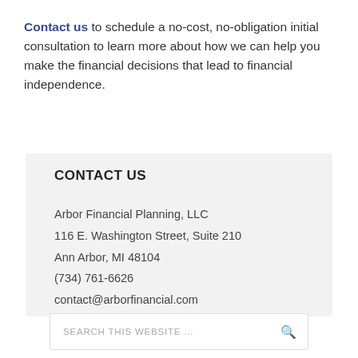Contact us to schedule a no-cost, no-obligation initial consultation to learn more about how we can help you make the financial decisions that lead to financial independence.
CONTACT US
Arbor Financial Planning, LLC
116 E. Washington Street, Suite 210
Ann Arbor, MI 48104
(734) 761-6626
contact@arborfinancial.com